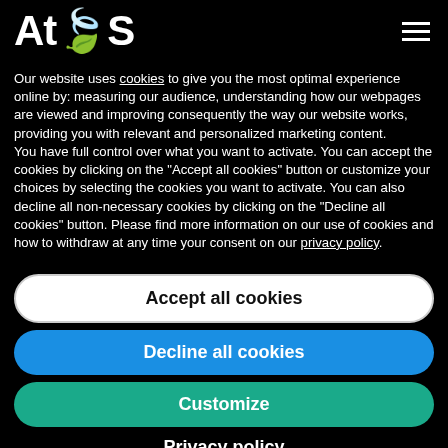Atos
Our website uses cookies to give you the most optimal experience online by: measuring our audience, understanding how our webpages are viewed and improving consequently the way our website works, providing you with relevant and personalized marketing content.
You have full control over what you want to activate. You can accept the cookies by clicking on the "Accept all cookies" button or customize your choices by selecting the cookies you want to activate. You can also decline all non-necessary cookies by clicking on the "Decline all cookies" button. Please find more information on our use of cookies and how to withdraw at any time your consent on our privacy policy.
Accept all cookies
Decline all cookies
Customize
Privacy policy
and a simpler financial treatment for customers. Beyond technology acquisition, customers are